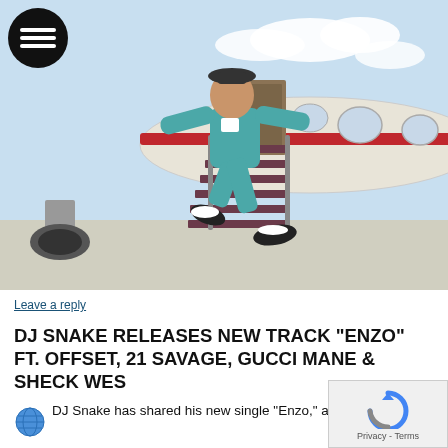[Figure (photo): Man in teal/turquoise tracksuit jumping energetically at the bottom of airplane stairs on a tarmac, with a private jet visible behind him. He's wearing white socks and black slide sandals. Blue sky with clouds in background.]
Leave a reply
DJ SNAKE RELEASES NEW TRACK “ENZO” FT. OFFSET, 21 SAVAGE, GUCCI MANE & SHECK WES
DJ Snake has shared his new single “Enzo,” a powerhouse